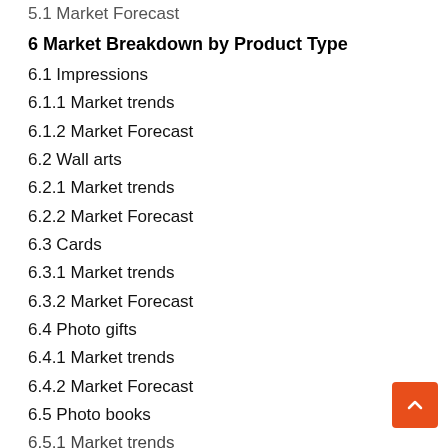5.1 Market Forecast
6 Market Breakdown by Product Type
6.1 Impressions
6.1.1 Market trends
6.1.2 Market Forecast
6.2 Wall arts
6.2.1 Market trends
6.2.2 Market Forecast
6.3 Cards
6.3.1 Market trends
6.3.2 Market Forecast
6.4 Photo gifts
6.4.1 Market trends
6.4.2 Market Forecast
6.5 Photo books
6.5.1 Market trends